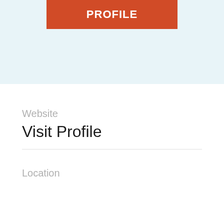[Figure (other): Red banner with white bold text 'PROFILE' on a light blue background, partially cropped at top]
Website
Visit Profile
Location